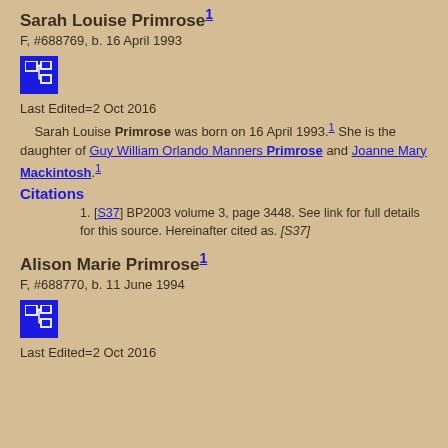Sarah Louise Primrose¹
F, #688769, b. 16 April 1993
[Figure (other): Blue icon button with family tree/relationship diagram symbol]
Last Edited=2 Oct 2016
Sarah Louise Primrose was born on 16 April 1993.¹ She is the daughter of Guy William Orlando Manners Primrose and Joanne Mary Mackintosh.¹
Citations
[S37] BP2003 volume 3, page 3448. See link for full details for this source. Hereinafter cited as. [S37]
Alison Marie Primrose¹
F, #688770, b. 11 June 1994
[Figure (other): Blue icon button with family tree/relationship diagram symbol]
Last Edited=2 Oct 2016